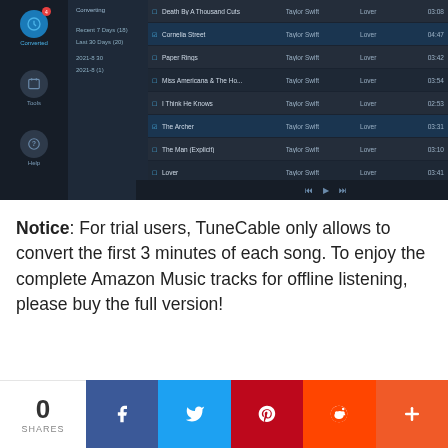[Figure (screenshot): TuneCable application screenshot showing a dark-themed music conversion interface with a sidebar (Converted, Tools, Help icons), a left panel with playlists (Recent 7 Days, Last 30 Days, 2021-8 30, 2021-8 (1)), and a song list showing Taylor Swift tracks (Death By A Thousand Cuts, Cornelia Street, Paper Rings, Miss Americana & The Ho..., I Think He Knows, The Archer, The Man (Explicit), Lover, I Can Do Better (Explicit)) with artist, album (Lover), and duration columns. Bottom has playback controls.]
Notice: For trial users, TuneCable only allows to convert the first 3 minutes of each song. To enjoy the complete Amazon Music tracks for offline listening, please buy the full version!